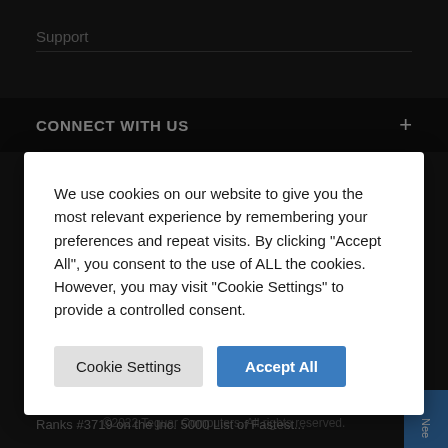Support
CONNECT WITH US +
We use cookies on our website to give you the most relevant experience by remembering your preferences and repeat visits. By clicking “Accept All”, you consent to the use of ALL the cookies. However, you may visit “Cookie Settings” to provide a controlled consent.
Cookie Settings
Accept All
Teguar Named to Inc. 5000 Fastest-Growing...
Ranks #3719 on the Inc. 5000 List of Fastest...
Corporation Makes the Inc. 5000 List for the...
©2022 Teguar Computers. All rights reserved.